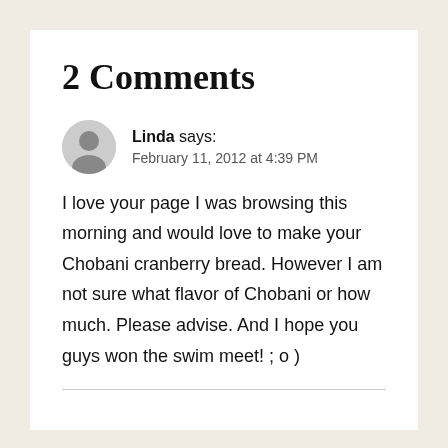2 Comments
Linda says: February 11, 2012 at 4:39 PM
I love your page I was browsing this morning and would love to make your Chobani cranberry bread. However I am not sure what flavor of Chobani or how much. Please advise. And I hope you guys won the swim meet! ; o )